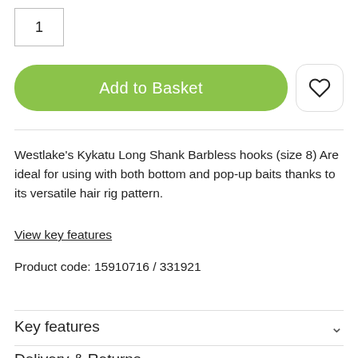1
Add to Basket
Westlake's Kykatu Long Shank Barbless hooks (size 8) Are ideal for using with both bottom and pop-up baits thanks to its versatile hair rig pattern.
View key features
Product code: 15910716 / 331921
Key features
Delivery & Returns